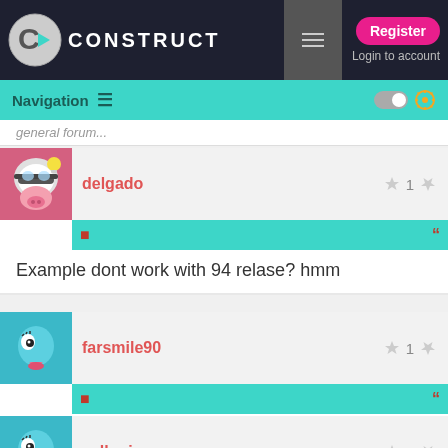CONSTRUCT | Register | Login to account
Navigation
general forum...
delgado  1
Example dont work with 94 relase? hmm
farsmile90  1
which plugin this examble used ???
valkyriegames  1